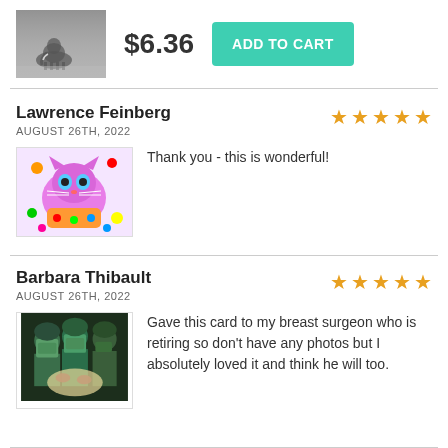[Figure (photo): Black and white photo of an elephant in misty landscape]
$6.36
ADD TO CART
Lawrence Feinberg
AUGUST 26TH, 2022
[Figure (illustration): Colorful cat illustration with flowers]
Thank you - this is wonderful!
Barbara Thibault
AUGUST 26TH, 2022
[Figure (photo): Photo of surgeons in an operating room]
Gave this card to my breast surgeon who is retiring so don't have any photos but I absolutely loved it and think he will too.